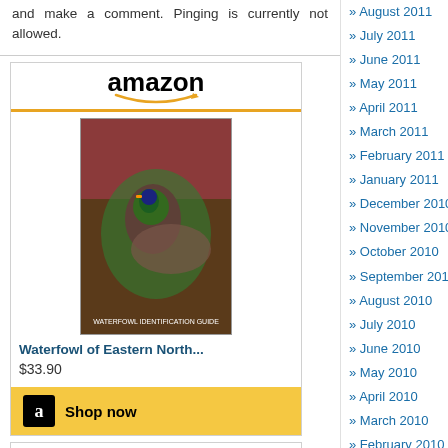and make a comment. Pinging is currently not allowed.
[Figure (other): Amazon widget for 'Waterfowl of Eastern North...' priced at $33.90 with Shop now button]
[Figure (other): Amazon widget for 'Why Ducks Do That' book cover]
August 2011
July 2011
June 2011
May 2011
April 2011
March 2011
February 2011
January 2011
December 2010
November 2010
October 2010
September 2010
August 2010
July 2010
June 2010
May 2010
April 2010
March 2010
February 2010
January 2010